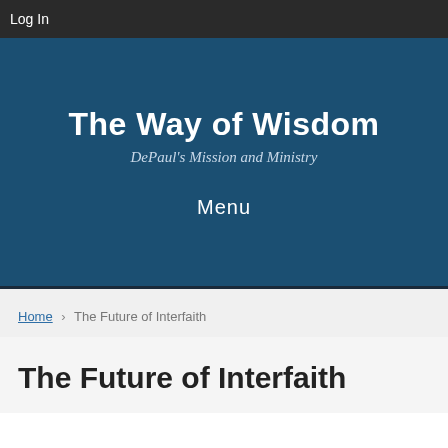Log In
The Way of Wisdom
DePaul's Mission and Ministry
Menu
Home > The Future of Interfaith
The Future of Interfaith